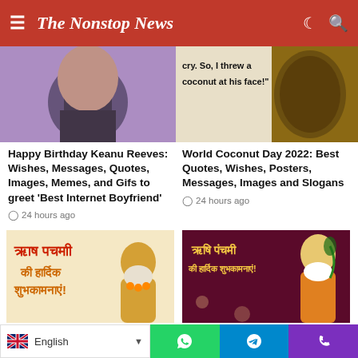The Nonstop News
[Figure (photo): Partial photo of Keanu Reeves against purple background]
[Figure (photo): Photo showing a coconut with text: 'cry. So, I threw a coconut at his face!']
Happy Birthday Keanu Reeves: Wishes, Messages, Quotes, Images, Memes, and Gifs to greet ‘Best Internet Boyfriend’
⌟ 24 hours ago
World Coconut Day 2022: Best Quotes, Wishes, Posters, Messages, Images and Slogans
⌟ 24 hours ago
[Figure (photo): Rishi Panchami greeting image with Hindi text and sage statue on orange/white background]
[Figure (photo): Rishi Panchami greeting image with Hindi text on maroon background with sage illustration]
Happy Rishi Panchami 2022: Best WhatsApp Status Video To Download For Free
Rishi Panchami 2022 Wishes in Hindi: Wishes, Quotes, Images, Messages, and
English | WhatsApp | Telegram | Phone